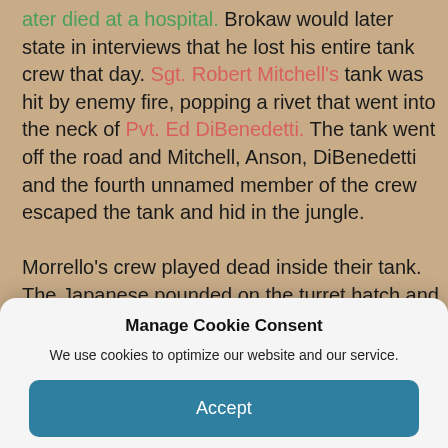ater died at a hospital. Brokaw would later state in interviews that he lost his entire tank crew that day. Sgt. Robert Mitchell's tank was hit by enemy fire, popping a rivet that went into the neck of Pvt. Ed DiBenedetti. The tank went off the road and Mitchell, Anson, DiBenedetti and the fourth unnamed member of the crew escaped the tank and hid in the jungle.

Morrello's crew played dead inside their tank. The Japanese pounded on the turret hatch and asked, "Hey Joe, you in there?" After the Japanese left the area 28
Manage Cookie Consent
We use cookies to optimize our website and our service.
Accept
Cookie Policy   Privacy Policy